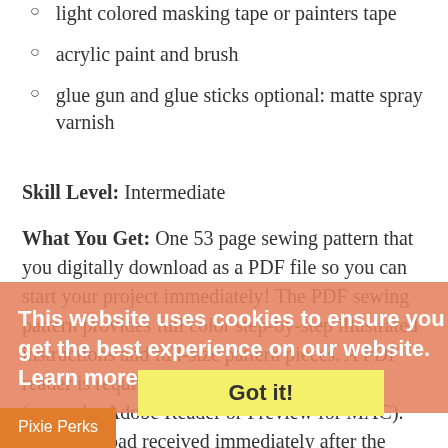light colored masking tape or painters tape
acrylic paint and brush
glue gun and glue sticks optional: matte spray varnish
Skill Level: Intermediate
What You Get: One 53 page sewing pattern that you digitally download as a PDF file so you can start your project immediately! The PDF sewing pattern provides full color step-by-step illustrated instructions and full-size pattern pieces. A PDF reader is required to view and print the files (example: Adobe Reader or Preview for MAC). The download received immediately after the action is complete. Print copies are NOT
This website uses cookies to ensure you get the best experience on our website. Learn more
Got it!
Pixie Perks